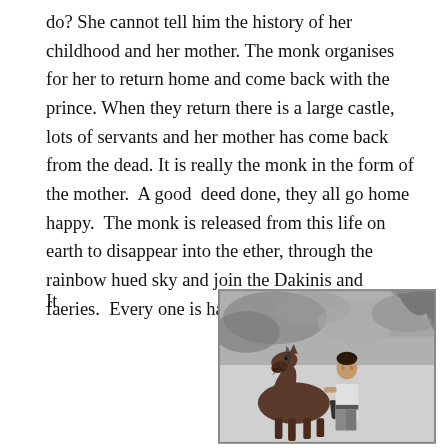do? She cannot tell him the history of her childhood and her mother. The monk organises for her to return home and come back with the prince. When they return there is a large castle, lots of servants and her mother has come back from the dead. It is really the monk in the form of the mother.  A good  deed done, they all go home happy.  The monk is released from this life on earth to disappear into the ether, through the rainbow hued sky and join the Dakinis and faeries.  Every one is happy.
It
[Figure (illustration): A black and white pencil or ink illustration showing a young person standing next to a horse, with dramatic cloudy sky and rocky landscape in the background.]